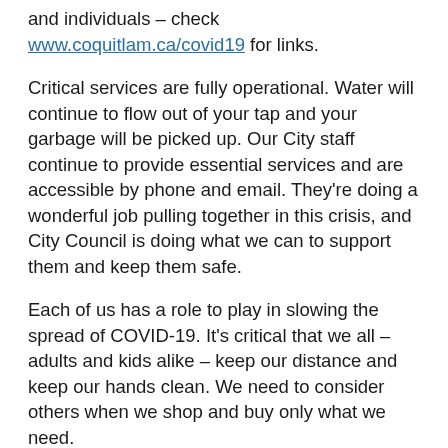and individuals – check www.coquitlam.ca/covid19 for links.
Critical services are fully operational. Water will continue to flow out of your tap and your garbage will be picked up. Our City staff continue to provide essential services and are accessible by phone and email. They're doing a wonderful job pulling together in this crisis, and City Council is doing what we can to support them and keep them safe.
Each of us has a role to play in slowing the spread of COVID-19. It's critical that we all – adults and kids alike – keep our distance and keep our hands clean. We need to consider others when we shop and buy only what we need.
It's time to hunker down. Play together as a family. Take care of your mental and physical health. If you are at low risk, reach out to neighbours – the senior living alone, the single parent – to help with